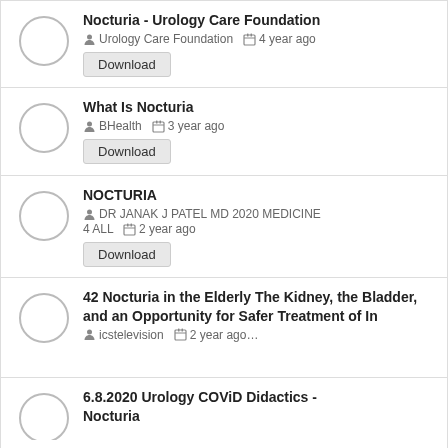Nocturia - Urology Care Foundation
Urology Care Foundation  4 year ago
Download
What Is Nocturia
BHealth  3 year ago
Download
NOCTURIA
DR JANAK J PATEL MD 2020 MEDICINE 4 ALL  2 year ago
Download
42 Nocturia in the Elderly The Kidney, the Bladder, and an Opportunity for Safer Treatment of In
icstelevision  2 year ago...
6.8.2020 Urology COViD Didactics - Nocturia